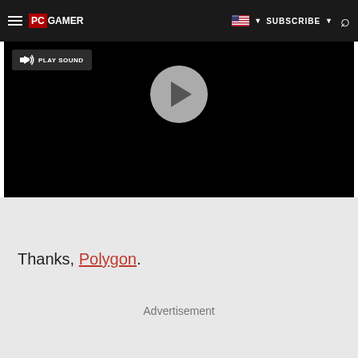PC GAMER — SUBSCRIBE
[Figure (screenshot): Video player with black background, a play sound button in top-left and a play button circle in the center]
Thanks, Polygon.
Advertisement